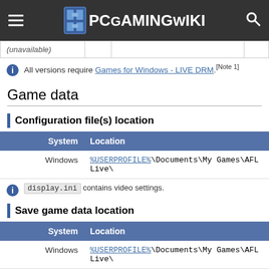PCGamingWiki
| (unavailable) |  |  |
| --- | --- | --- |
|  |
All versions require Games for Windows - LIVE DRM.[Note 1]
Game data
Configuration file(s) location
| System | Location |
| --- | --- |
| Windows | %USERPROFILE%\Documents\My Games\AFL Live\ |
display.ini contains video settings.
Save game data location
| System | Location |
| --- | --- |
| Windows | %USERPROFILE%\Documents\My Games\AFL Live\ |